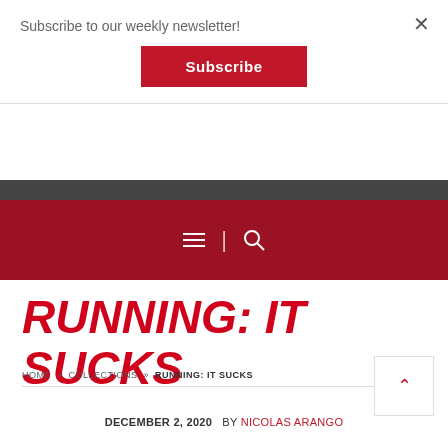Subscribe to our weekly newsletter!
Subscribe
[Figure (screenshot): Red navigation bar with hamburger menu icon, vertical divider, and search icon on dark red background]
RUNNING: IT SUCKS
HOME » COLLECTIONS » RUNNING: IT SUCKS
DECEMBER 2, 2020  BY NICOLAS ARANGO